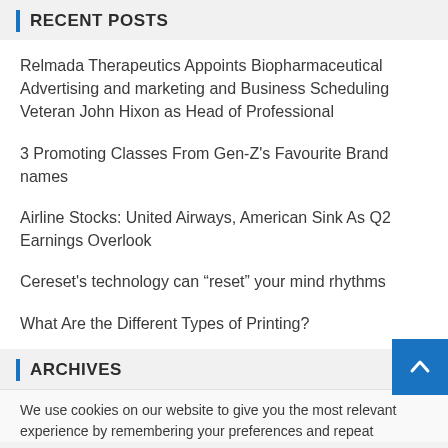RECENT POSTS
Relmada Therapeutics Appoints Biopharmaceutical Advertising and marketing and Business Scheduling Veteran John Hixon as Head of Professional
3 Promoting Classes From Gen-Z’s Favourite Brand names
Airline Stocks: United Airways, American Sink As Q2 Earnings Overlook
Cereset’s technology can “reset” your mind rhythms
What Are the Different Types of Printing?
ARCHIVES
We use cookies on our website to give you the most relevant experience by remembering your preferences and repeat